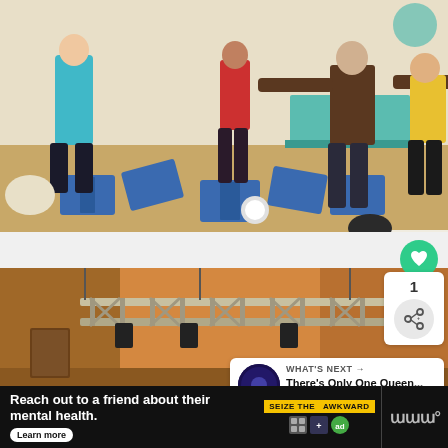[Figure (photo): Indoor yoga class with several people doing warrior pose on blue yoga mat tiles on a wooden floor. People in exercise clothing, one in cyan tank top, one in red, instructor in brown jacket.]
[Figure (photo): Interior of a large hall or venue with metal truss lighting rig suspended from the ceiling. Orange-tinted lighting, stone or concrete walls visible.]
1
WHAT'S NEXT → There's Only One Queen...
Reach out to a friend about their mental health. Learn more  SEIZE THE AWKWARD